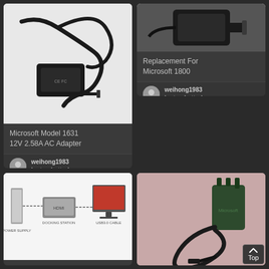[Figure (photo): AC adapter/charger with cable for Microsoft Surface, black, on white background]
Microsoft Model 1631
12V 2.58A AC Adapter
weihong1983
laptop batteries
[Figure (photo): Microsoft Surface charger/adapter on dark background, top view]
Replacement For
Microsoft 1800
weihong1983
laptop batteries
[Figure (photo): Microsoft Surface AC adapter with coiled cable on pink background]
For Microsoft Surface
7ZR-00001
[Figure (infographic): Diagram showing device connectivity setup with components and cables]